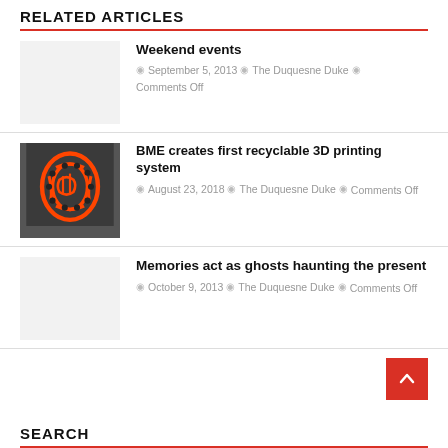RELATED ARTICLES
Weekend events
September 5, 2013 · The Duquesne Duke · Comments Off
BME creates first recyclable 3D printing system
August 23, 2018 · The Duquesne Duke · Comments Off
Memories act as ghosts haunting the present
October 9, 2013 · The Duquesne Duke · Comments Off
SEARCH